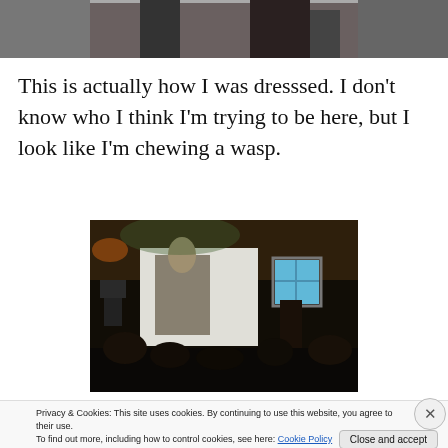[Figure (photo): Partial top of a photo showing a person dressed up, cropped at the top of the page]
This is actually how I was dresssed. I don't know who I think I'm trying to be here, but I look like I'm chewing a wasp.
[Figure (photo): Dark interior photo of a presentation or event, showing a projection screen with a figure on it, audience silhouettes, and ambient lighting]
Privacy & Cookies: This site uses cookies. By continuing to use this website, you agree to their use.
To find out more, including how to control cookies, see here: Cookie Policy